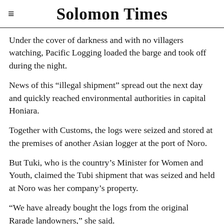Solomon Times
Under the cover of darkness and with no villagers watching, Pacific Logging loaded the barge and took off during the night.
News of this “illegal shipment” spread out the next day and quickly reached environmental authorities in capital Honiara.
Together with Customs, the logs were seized and stored at the premises of another Asian logger at the port of Noro.
But Tuki, who is the country’s Minister for Women and Youth, claimed the Tubi shipment that was seized and held at Noro was her company’s property.
“We have already bought the logs from the original Rarade landowners,” she said.